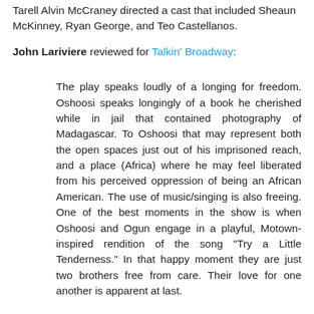Tarell Alvin McCraney directed a cast that included Sheaun McKinney, Ryan George, and Teo Castellanos.
John Lariviere reviewed for Talkin' Broadway:
The play speaks loudly of a longing for freedom. Oshoosi speaks longingly of a book he cherished while in jail that contained photography of Madagascar. To Oshoosi that may represent both the open spaces just out of his imprisoned reach, and a place (Africa) where he may feel liberated from his perceived oppression of being an African American. The use of music/singing is also freeing. One of the best moments in the show is when Oshoosi and Ogun engage in a playful, Motown-inspired rendition of the song "Try a Little Tenderness." In that happy moment they are just two brothers free from care. Their love for one another is apparent at last.
McCraney's use of imagery is strong, and his language is at times rough (including liberal use